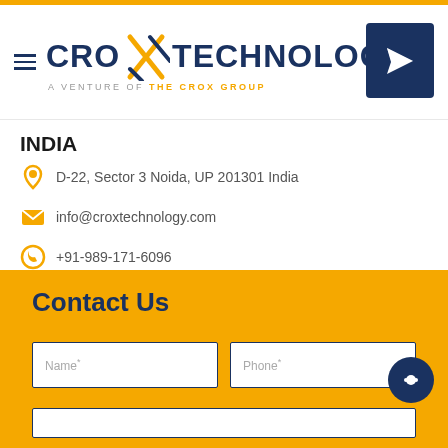[Figure (logo): CRO X TECHNOLOGY logo with hamburger menu and send button. Tagline: A VENTURE OF THE CROX GROUP]
INDIA
D-22, Sector 3 Noida, UP 201301 India
info@croxtechnology.com
+91-989-171-6096
[Figure (logo): LinkedIn icon in a square border]
Contact Us
Name* | Phone* form fields